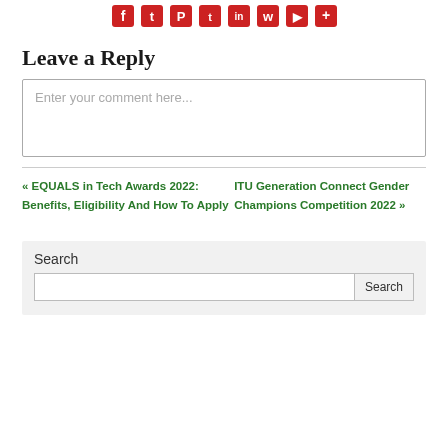[Figure (infographic): Row of red social media sharing icons: Facebook, Twitter, Pinterest, Tumblr, LinkedIn, WhatsApp, YouTube, Google+]
Leave a Reply
Enter your comment here...
« EQUALS in Tech Awards 2022: Benefits, Eligibility And How To Apply
ITU Generation Connect Gender Champions Competition 2022 »
Search
Search